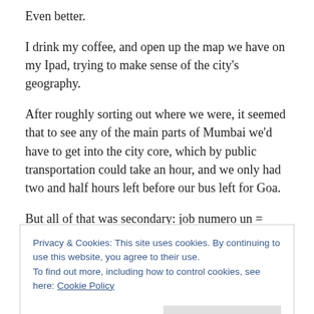Even better.
I drink my coffee, and open up the map we have on my Ipad, trying to make sense of the city's geography.
After roughly sorting out where we were, it seemed that to see any of the main parts of Mumbai we'd have to get into the city core, which by public transportation could take an hour, and we only had two and half hours left before our bus left for Goa.
But all of that was secondary: job numero un = finding a
Privacy & Cookies: This site uses cookies. By continuing to use this website, you agree to their use.
To find out more, including how to control cookies, see here: Cookie Policy
Close and accept
Up we go, and I start canvassing the spots. First one: no